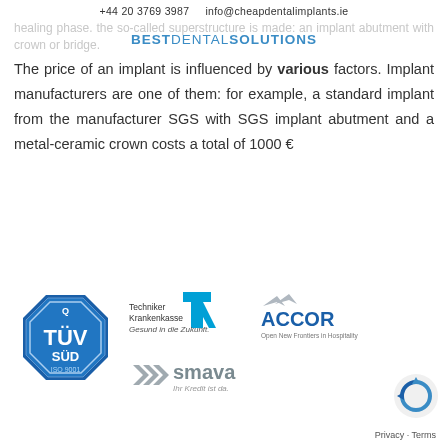+44 20 3769 3987    info@cheapdentalimplants.ie
BEST DENTAL SOLUTIONS
healing phase. the so-called superstructure is made: an implant abutment with crown or bridge.
The price of an implant is influenced by various factors. Implant manufacturers are one of them: for example, a standard implant from the manufacturer SGS with SGS implant abutment and a metal-ceramic crown costs a total of 1000 €
[Figure (logo): TÜV SÜD ISO 9001 certification logo (blue octagon)]
[Figure (logo): Techniker Krankenkasse (TK) logo with text: Gesund in die Zukunft.]
[Figure (logo): ACCOR - Open New Frontiers in Hospitality logo]
[Figure (logo): smava - Ihr Kredit ist da. logo]
[Figure (logo): reCAPTCHA logo]
Privacy · Terms